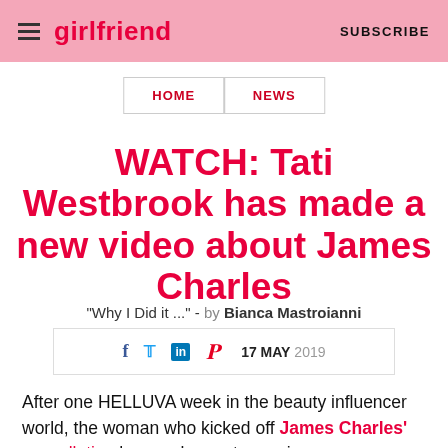girlfriend  SUBSCRIBE
HOME  NEWS
WATCH: Tati Westbrook has made a new video about James Charles
"Why I Did it ..." - by Bianca Mastroianni
f  Twitter  in  Pinterest  17 MAY 2019
After one HELLUVA week in the beauty influencer world, the woman who kicked off James Charles' cancellation has spoken out... again.